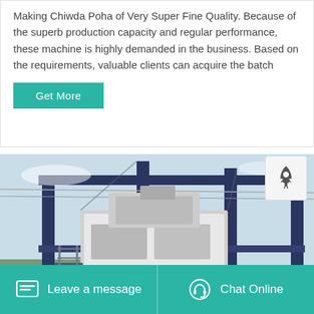Making Chiwda Poha of Very Super Fine Quality. Because of the superb production capacity and regular performance, these machine is highly demanded in the business. Based on the requirements, valuable clients can acquire the batch
Get More
[Figure (photo): Industrial machine (Chiwda Poha processing equipment) on an outdoor construction/factory site, with blue metal frames and white housing, trees visible in background.]
Leave a message   Chat Online